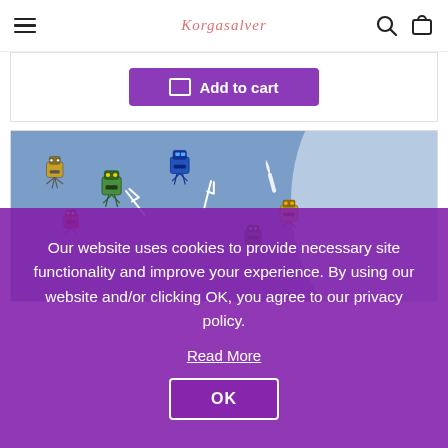Korgasalver — navigation header with hamburger menu, search, and cart icons
[Figure (screenshot): Purple 'Add to cart' button with cart icon inside a white bordered product card section]
[Figure (photo): Rolled fabric with colorful robot print on blue background]
Our website uses cookies to provide necessary site functionality and improve your experience. By using our website and/or clicking OK, you agree to our privacy policy.
Read More
OK